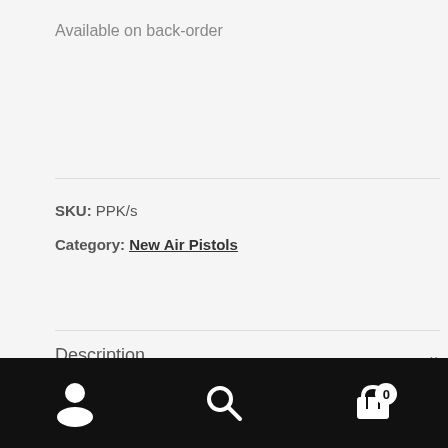Available on back-order
SKU: PPK/s
Category: New Air Pistols
Description
Additional information
Reviews (0)
User icon | Search icon | Cart (0)